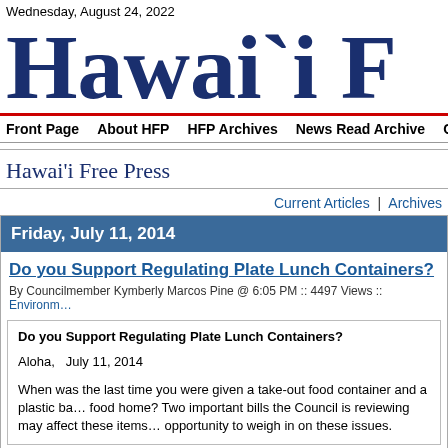Wednesday, August 24, 2022
Hawai`i F…
Front Page | About HFP | HFP Archives | News Read Archive | Get HFP by…
Hawai'i Free Press
Current Articles | Archives
Friday, July 11, 2014
Do you Support Regulating Plate Lunch Containers?
By Councilmember Kymberly Marcos Pine @ 6:05 PM :: 4497 Views :: Environm…
Do you Support Regulating Plate Lunch Containers?

Aloha,   July 11, 2014

When was the last time you were given a take-out food container and a plastic bag to carry your food home? Two important bills the Council is reviewing may affect these items. You have an opportunity to weigh in on these issues.